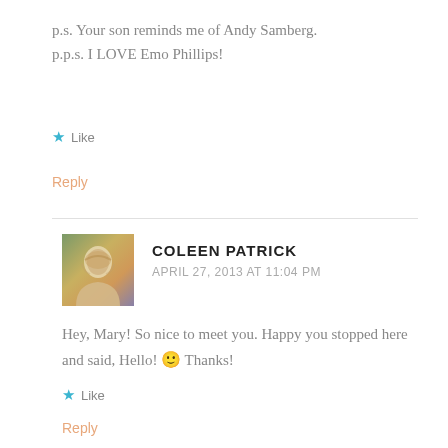p.s. Your son reminds me of Andy Samberg.
p.p.s. I LOVE Emo Phillips!
★ Like
Reply
COLEEN PATRICK
APRIL 27, 2013 AT 11:04 PM
Hey, Mary! So nice to meet you. Happy you stopped here and said, Hello! 🙂 Thanks!
★ Like
Reply